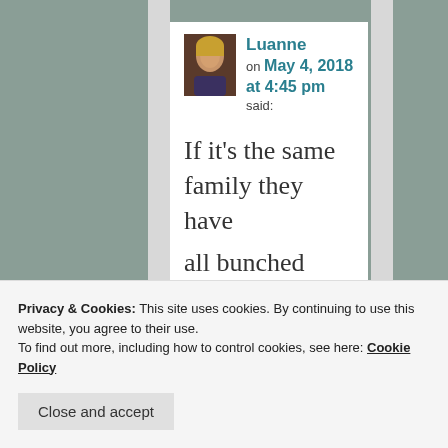Luanne on May 4, 2018 at 4:45 pm said:
If it's the same family they have all bunched
Privacy & Cookies: This site uses cookies. By continuing to use this website, you agree to their use.
To find out more, including how to control cookies, see here: Cookie Policy
Close and accept